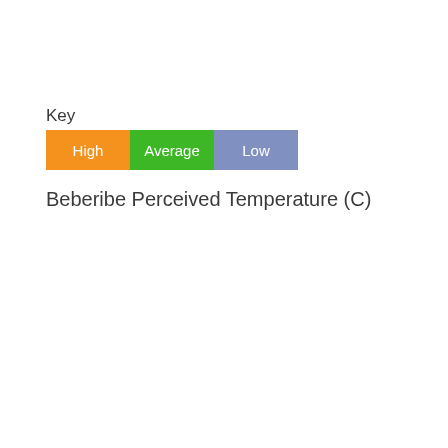Key
[Figure (infographic): Legend with three colored boxes labeled High (orange), Average (green), and Low (blue-purple)]
Beberibe Perceived Temperature (C)